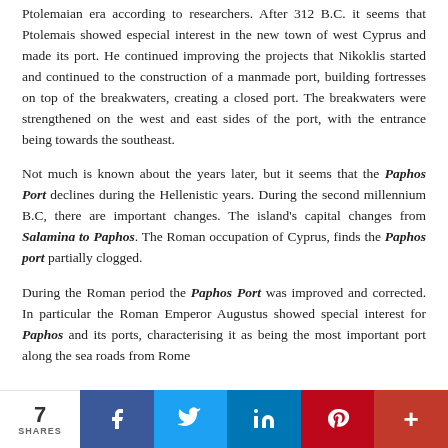Ptolemaian era according to researchers. After 312 B.C. it seems that Ptolemais showed especial interest in the new town of west Cyprus and made its port. He continued improving the projects that Nikoklis started and continued to the construction of a manmade port, building fortresses on top of the breakwaters, creating a closed port. The breakwaters were strengthened on the west and east sides of the port, with the entrance being towards the southeast.

Not much is known about the years later, but it seems that the Paphos Port declines during the Hellenistic years. During the second millennium B.C, there are important changes. The island's capital changes from Salamina to Paphos. The Roman occupation of Cyprus, finds the Paphos port partially clogged.

During the Roman period the Paphos Port was improved and corrected. In particular the Roman Emperor Augustus showed special interest for Paphos and its ports, characterising it as being the most important port along the sea roads from Rome
7 SHARES | Facebook | Twitter | LinkedIn | Pinterest | More